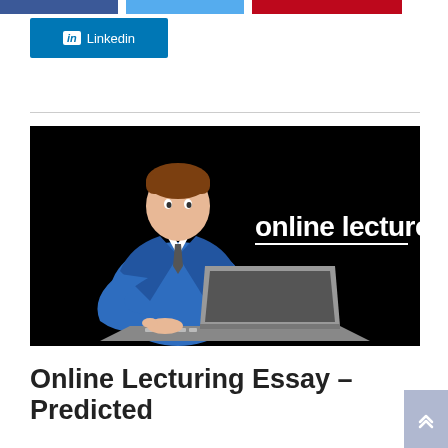[Figure (screenshot): Social media share buttons: Facebook (blue), Twitter (blue), Pinterest (red) at top]
[Figure (logo): LinkedIn share button in blue with 'in' icon and text 'Linkedin']
[Figure (illustration): Black background image showing a cartoon businessman in blue suit typing on a laptop, with white text 'online lectures' and underline on the right side]
Online Lecturing Essay – Predicted